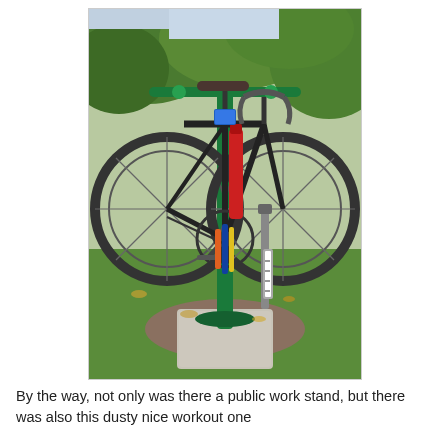[Figure (photo): A road bicycle mounted on a green public bike repair stand/work stand in a park setting. The green metal stand has a horizontal arm holding the bike aloft, with tools and a red pump attached. It sits on a concrete base pad on a grassy area with trees in the background.]
By the way, not only was there a public work stand, but there was also this dusty nice workout one